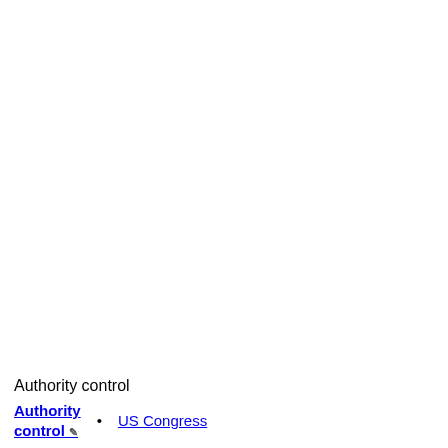Gonzalez (…
M. Cloud (R…
C. Allred (D…
D. Crenshaw
V. Escobar (D…
S. Garcia (D…
L. Gooden (R…
L. Fletcher (…
C. Roy (R)
V. Taylor (R…
R. Wright (R…
P. Fallon (R)
T. Gonzales (…
R. Jackson (R…
T. Nehls (R)
A. Pfluger (R…
B. Van Duyne (R)
J. Ellzey (R)
M. Flores (R…
Authority control
Authority control • US Congress